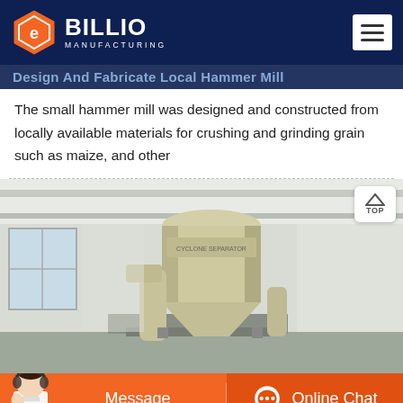BILLIO MANUFACTURING
Design And Fabricate Local Hammer Mill
The small hammer mill was designed and constructed from locally available materials for crushing and grinding grain such as maize, and other
[Figure (photo): Industrial hammer mill / cyclone separator machine photographed in a factory setting. A large cream/beige colored cyclone dust collector sits on a raised platform with pipes, inside a white-walled industrial building.]
Message | Online Chat